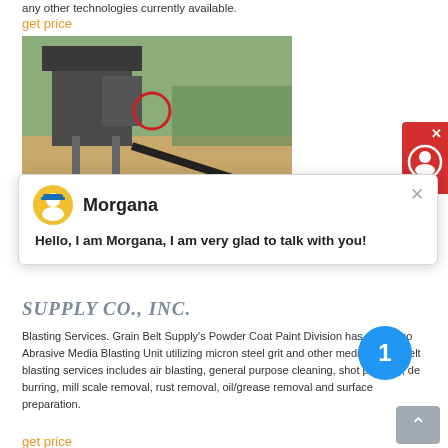any other technologies currently available.
get price
[Figure (photo): Industrial machinery / quarry crusher equipment outdoors]
[Figure (screenshot): Chat widget with avatar of Morgana and message: Hello, I am Morgana, I am very glad to talk with you!]
SUPPLY CO., INC.
Blasting Services. Grain Belt Supply's Powder Coat Paint Division has a Clemco Abrasive Media Blasting Unit utilizing micron steel grit and other media. Grain Belt blasting services includes air blasting, general purpose cleaning, shot peening, de burring, mill scale removal, rust removal, oil/grease removal and surface preparation.
get price